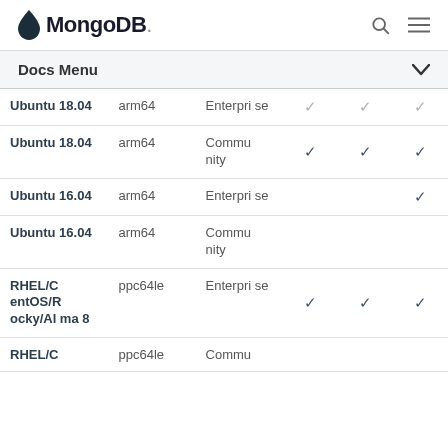MongoDB
Docs Menu
| OS | Architecture | Edition |  |  |  |
| --- | --- | --- | --- | --- | --- |
| Ubuntu 18.04 | arm64 | Enterprise | ✓ | ✓ | ✓ |
| Ubuntu 18.04 | arm64 | Community | ✓ | ✓ | ✓ |
| Ubuntu 16.04 | arm64 | Enterprise |  |  | ✓ |
| Ubuntu 16.04 | arm64 | Community |  |  |  |
| RHEL/CentOS/Rocky/Alma 8 | ppc64le | Enterprise | ✓ | ✓ | ✓ |
| RHEL/C | ppc64le | Commu |  |  |  |